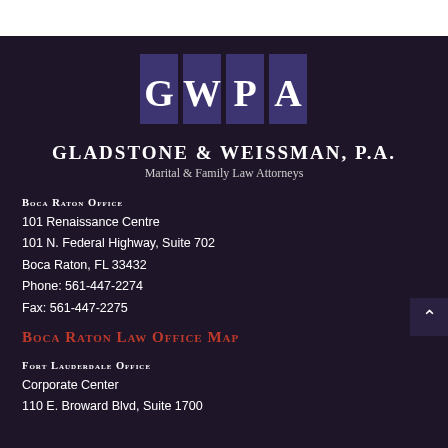[Figure (logo): GWPA logo — four dark purple squares each containing a white letter: G, W, P, A]
GLADSTONE & WEISSMAN, P.A.
Marital & Family Law Attorneys
Boca Raton Office
101 Renaissance Centre
101 N. Federal Highway, Suite 702
Boca Raton, FL 33432
Phone: 561-447-2274
Fax: 561-447-2275
Boca Raton Law Office Map
Fort Lauderdale Office
Corporate Center
110 E. Broward Blvd, Suite 1700